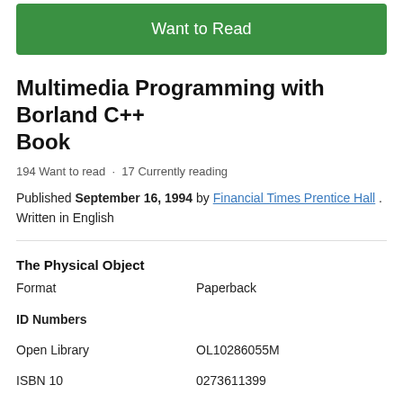[Figure (other): Green 'Want to Read' button]
Multimedia Programming with Borland C++ Book
194 Want to read · 17 Currently reading
Published September 16, 1994 by Financial Times Prentice Hall . Written in English
The Physical Object
| Format | Paperback |
| ID Numbers |  |
| Open Library | OL10286055M |
| ISBN 10 | 0273611399 |
| ISBN 10 | 9780273611394 |